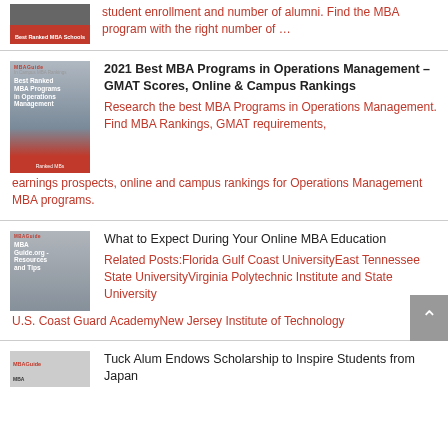student enrollment and number of alumni. Find the MBA program with the right number of ...
2021 Best MBA Programs in Operations Management – GMAT Scores, Online & Campus Rankings
Research the best MBA Programs in Operations Management. Find MBA Rankings, GMAT requirements, earnings prospects, online and campus rankings for Operations Management MBA programs.
What to Expect During Your Online MBA Education
Related Posts:Florida Gulf Coast UniversityEast Tennessee State UniversityVirginia Polytechnic Institute and State UniversityU.S. Coast Guard AcademyNew Jersey Institute of Technology
Tuck Alum Endows Scholarship to Inspire Students from Japan